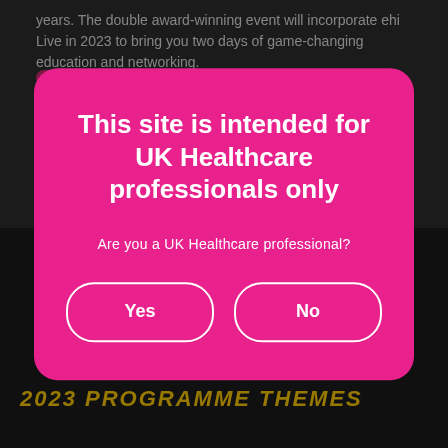years. The double award-winning event will incorporate ehi Live in 2023 to bring you two days of game-changing education and networking.
[Figure (screenshot): Background webpage content partially visible behind modal overlay, showing text, a pink button, a dark section, and a gold 'Got it!' button and '2023 PROGRAMME THEMES' text at the bottom.]
This site is intended for UK Healthcare professionals only
Are you a UK Healthcare professional?
Yes
No